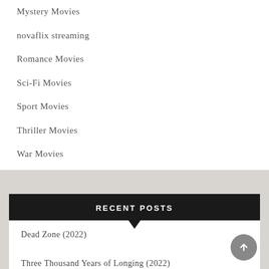Mystery Movies
novaflix streaming
Romance Movies
Sci-Fi Movies
Sport Movies
Thriller Movies
War Movies
Western Movies
RECENT POSTS
Dead Zone (2022)
Three Thousand Years of Longing (2022)
House of the Dragon (2022)
Vesper (2022)